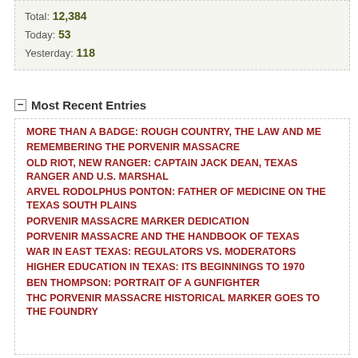Total: 12,384
Today: 53
Yesterday: 118
Most Recent Entries
MORE THAN A BADGE: ROUGH COUNTRY, THE LAW AND ME
REMEMBERING THE PORVENIR MASSACRE
OLD RIOT, NEW RANGER: CAPTAIN JACK DEAN, TEXAS RANGER AND U.S. MARSHAL
ARVEL RODOLPHUS PONTON: FATHER OF MEDICINE ON THE TEXAS SOUTH PLAINS
PORVENIR MASSACRE MARKER DEDICATION
PORVENIR MASSACRE AND THE HANDBOOK OF TEXAS
WAR IN EAST TEXAS: REGULATORS VS. MODERATORS
HIGHER EDUCATION IN TEXAS: ITS BEGINNINGS TO 1970
BEN THOMPSON: PORTRAIT OF A GUNFIGHTER
THC PORVENIR MASSACRE HISTORICAL MARKER GOES TO THE FOUNDRY